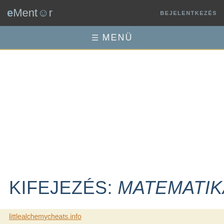eMentor :) r    BEJELENTKEZÉS
☰ MENÜ
KIFEJEZÉS: MATEMATIKA
littlealchemycheats.info